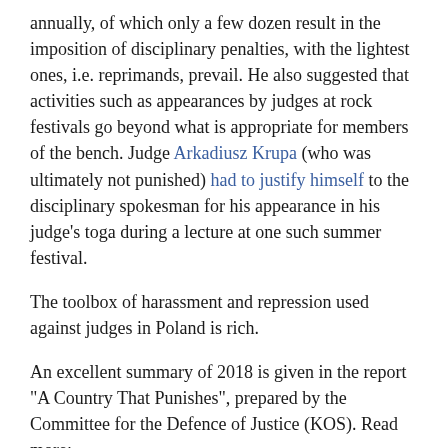annually, of which only a few dozen result in the imposition of disciplinary penalties, with the lightest ones, i.e. reprimands, prevail. He also suggested that activities such as appearances by judges at rock festivals go beyond what is appropriate for members of the bench. Judge Arkadiusz Krupa (who was ultimately not punished) had to justify himself to the disciplinary spokesman for his appearance in his judge's toga during a lecture at one such summer festival.
The toolbox of harassment and repression used against judges in Poland is rich.
An excellent summary of 2018 is given in the report "A Country That Punishes", prepared by the Committee for the Defence of Justice (KOS). Read more: https://ruleoflaw.pl/a-country-that-punishes-pressure-and-repression-of-polish-judges-and-prosecutors-kos-raport/